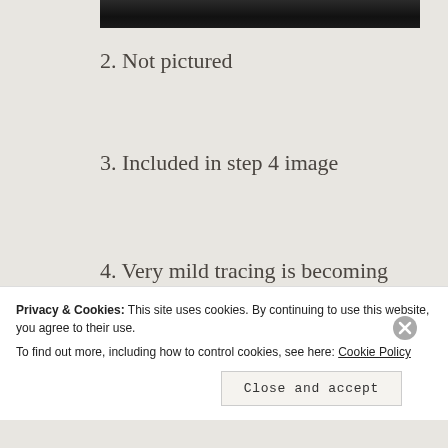[Figure (photo): Partial view of a dark/black photo strip at the top of the page, showing what appears to be a surface or object in low lighting.]
2. Not pictured
3. Included in step 4 image
4. Very mild tracing is becoming evident. My solution went from color and consistency of broth to gravy to well-blended mashed potatoes to frosting in just over 20 minutes of stirring
Privacy & Cookies: This site uses cookies. By continuing to use this website, you agree to their use.
To find out more, including how to control cookies, see here: Cookie Policy
Close and accept